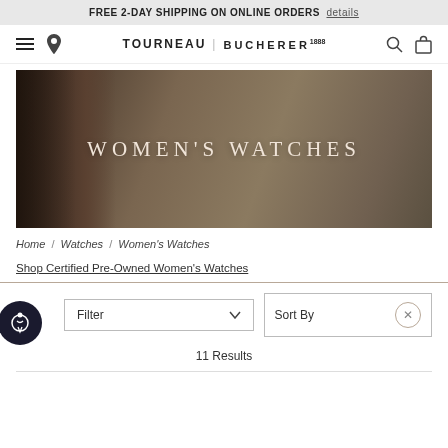FREE 2-DAY SHIPPING ON ONLINE ORDERS  details
[Figure (screenshot): Tourneau Bucherer navigation bar with hamburger menu, location pin, logo, search and bag icons]
[Figure (photo): Hero banner image for Women's Watches category showing a woman with dark background, text reads WOMEN'S WATCHES]
Home / Watches / Women's Watches
Shop Certified Pre-Owned Women's Watches
Filter
Sort By
11 Results